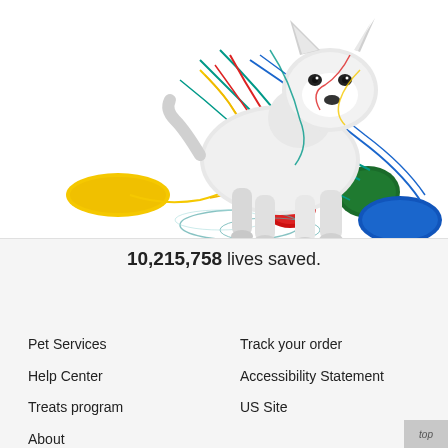[Figure (photo): A white Siberian Husky dog tangled in colorful yarn/string with balls of yarn in yellow, red, green, and blue colors around it, on a white background.]
10,215,758 lives saved.
Pet Services
Help Center
Treats program
About
Track your order
Accessibility Statement
US Site